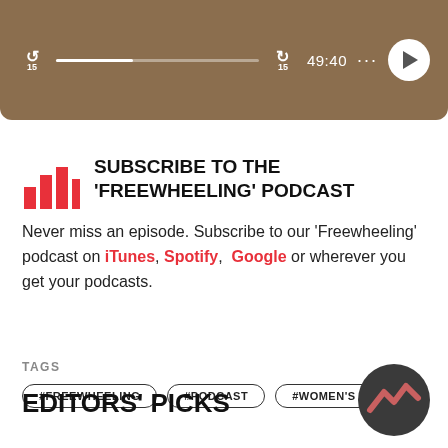[Figure (screenshot): Audio player bar showing a podcast episode at 49:40, with skip back/forward 15s buttons, progress bar, and play button on brown background]
SUBSCRIBE TO THE 'FREEWHEELING' PODCAST
Never miss an episode. Subscribe to our 'Freewheeling' podcast on iTunes, Spotify, Google or wherever you get your podcasts.
TAGS
#FREEWHEELING
#PODCAST
#WOMEN'S CYCLING
EDITORS' PICKS